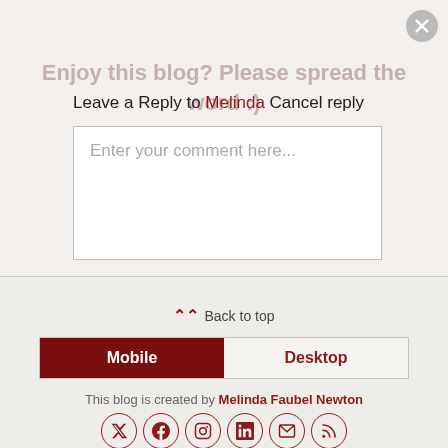[Figure (screenshot): Overlay popup with text 'Enjoy this blog? Please spread the word :)' and social media icons (Twitter/X, Facebook, Instagram, Pinterest, LinkedIn) in faded colors, with a close button (X) in top right]
Leave a Reply to Melinda Cancel reply
[Figure (screenshot): Comment text area box with placeholder text 'Enter your comment here...']
⇈ Back to top
[Figure (infographic): Mobile/Desktop toggle bar with Mobile selected (dark red background) and Desktop unselected (light background)]
This blog is created by Melinda Faubel Newton
[Figure (infographic): Row of 6 social media icon circles: Twitter, Facebook, Instagram, LinkedIn, Email, RSS — outlined in dark red]